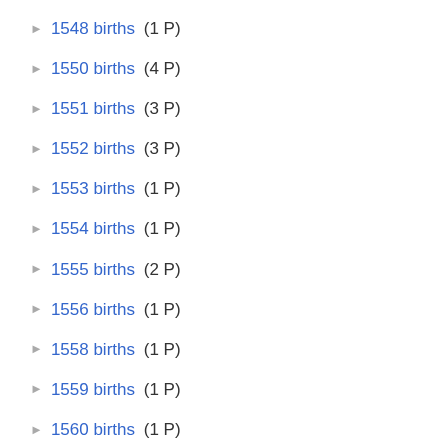▶ 1548 births (1 P)
▶ 1550 births (4 P)
▶ 1551 births (3 P)
▶ 1552 births (3 P)
▶ 1553 births (1 P)
▶ 1554 births (1 P)
▶ 1555 births (2 P)
▶ 1556 births (1 P)
▶ 1558 births (1 P)
▶ 1559 births (1 P)
▶ 1560 births (1 P)
▶ 1561 births (3 P)